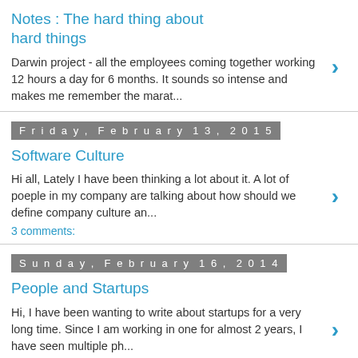Notes : The hard thing about hard things
Darwin project - all the employees coming together working 12 hours a day for 6 months. It sounds so intense and makes me remember the marat...
Friday, February 13, 2015
Software Culture
Hi all, Lately I have been thinking a lot about it. A lot of poeple in my company are talking about how should we define company culture an...
3 comments:
Sunday, February 16, 2014
People and Startups
Hi, I have been wanting to write about startups for a very long time. Since I am working in one for almost 2 years, I have seen multiple ph...
4 comments: